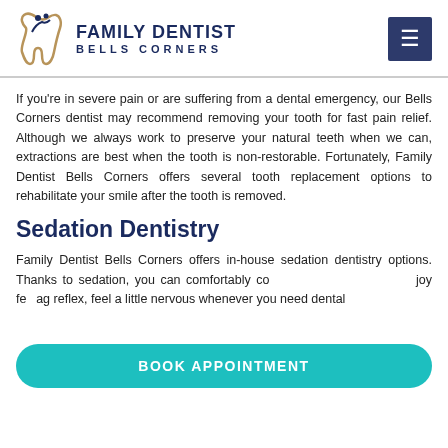[Figure (logo): Family Dentist Bells Corners logo with tooth icon and text]
If you're in severe pain or are suffering from a dental emergency, our Bells Corners dentist may recommend removing your tooth for fast pain relief. Although we always work to preserve your natural teeth when we can, extractions are best when the tooth is non-restorable. Fortunately, Family Dentist Bells Corners offers several tooth replacement options to rehabilitate your smile after the tooth is removed.
Sedation Dentistry
Family Dentist Bells Corners offers in-house sedation dentistry options. Thanks to sedation, you can comfortably complete your dental treatment and enjoy feeling at ease. If you have a strong gag reflex, feel a little nervous whenever you need dental
[Figure (other): BOOK APPOINTMENT teal call-to-action button]